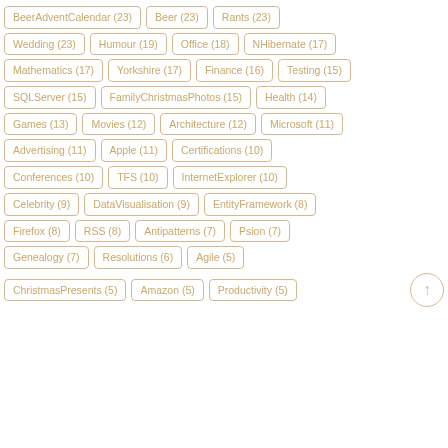BeerAdventCalendar (23)
Beer (23)
Rants (23)
Wedding (23)
Humour (19)
Office (18)
NHibernate (17)
Mathematics (17)
Yorkshire (17)
Finance (16)
Testing (15)
SQLServer (15)
FamilyChristmasPhotos (15)
Health (14)
Games (13)
Movies (12)
Architecture (12)
Microsoft (11)
Advertising (11)
Apple (11)
Certifications (10)
Conferences (10)
TFS (10)
InternetExplorer (10)
Celebrity (9)
DataVisualisation (9)
EntityFramework (8)
Firefox (8)
RSS (8)
Antipatterns (7)
Psion (7)
Genealogy (7)
Resolutions (6)
Agile (5)
ChristmasPresents (5)
Amazon (5)
Productivity (5)